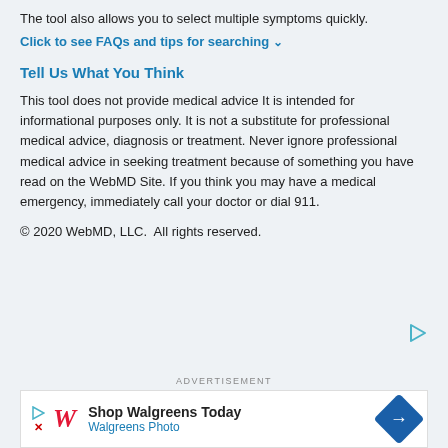The tool also allows you to select multiple symptoms quickly.
Click to see FAQs and tips for searching
Tell Us What You Think
This tool does not provide medical advice It is intended for informational purposes only. It is not a substitute for professional medical advice, diagnosis or treatment. Never ignore professional medical advice in seeking treatment because of something you have read on the WebMD Site. If you think you may have a medical emergency, immediately call your doctor or dial 911.
© 2020 WebMD, LLC.  All rights reserved.
[Figure (other): Small triangular play/ad icon in teal color]
ADVERTISEMENT
[Figure (other): Walgreens advertisement banner: Shop Walgreens Today - Walgreens Photo, with Walgreens cursive W logo and blue diamond arrow icon]